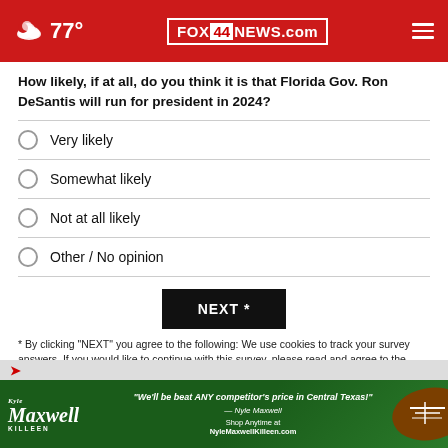FOX 44 NEWS.com — 77°
How likely, if at all, do you think it is that Florida Gov. Ron DeSantis will run for president in 2024?
Very likely
Somewhat likely
Not at all likely
Other / No opinion
NEXT *
* By clicking "NEXT" you agree to the following: We use cookies to track your survey answers. If you would like to continue with this survey, please read and agree to the CivicScience Privacy Policy and Terms of Service
[Figure (advertisement): Maxwell Killeen dealership ad: 'We'll be beat ANY competitor's price in Central Texas!' Shop Anytime at NyleMaxwellKilleen.com]